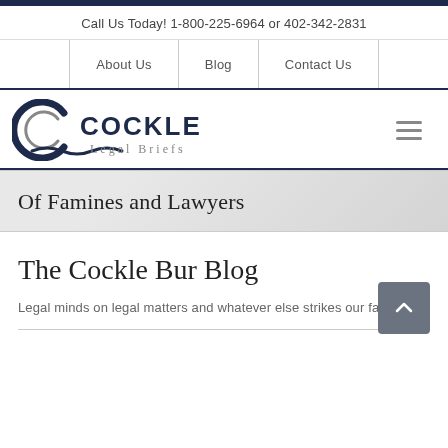Call Us Today! 1-800-225-6964 or 402-342-2831
About Us | Blog | Contact Us
[Figure (logo): Cockle Legal Briefs logo with stylized C and wave motif]
Of Famines and Lawyers
The Cockle Bur Blog
Legal minds on legal matters and whatever else strikes our fancy.